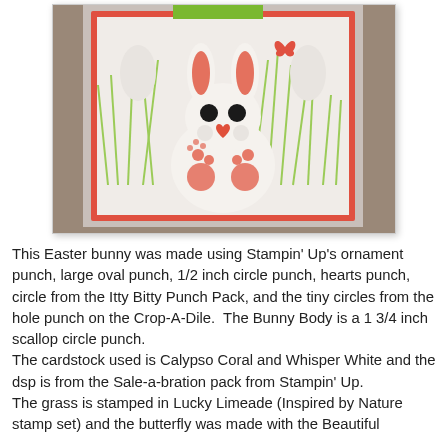[Figure (photo): A handmade Easter greeting card featuring a white bunny made from punched paper shapes, with pink/coral glittery ears, black circle eyes, a heart-shaped nose, sitting among green grass stamped on white cardstock, with a small butterfly near the top right. The card has a coral/red border on a white background. There is a green rectangle visible at the top edge of the card.]
This Easter bunny was made using Stampin' Up's ornament punch, large oval punch, 1/2 inch circle punch, hearts punch, circle from the Itty Bitty Punch Pack, and the tiny circles from the hole punch on the Crop-A-Dile.  The Bunny Body is a 1 3/4 inch scallop circle punch.
The cardstock used is Calypso Coral and Whisper White and the dsp is from the Sale-a-bration pack from Stampin' Up.
The grass is stamped in Lucky Limeade (Inspired by Nature stamp set) and the butterfly was made with the Beautiful